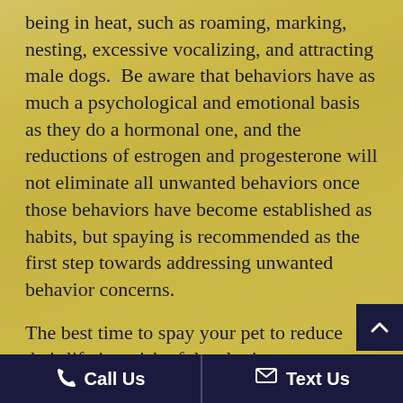being in heat, such as roaming, marking, nesting, excessive vocalizing, and attracting male dogs.  Be aware that behaviors have as much a psychological and emotional basis as they do a hormonal one, and the reductions of estrogen and progesterone will not eliminate all unwanted behaviors once those behaviors have become established as habits, but spaying is recommended as the first step towards addressing unwanted behavior concerns.
The best time to spay your pet to reduce their lifetime risk of developing cancer, pyometra, or behavioral difficulties later in life is between 6 months to 8 months old, and before their first heat cycle.